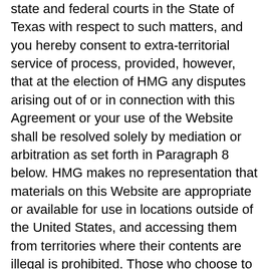state and federal courts in the State of Texas with respect to such matters, and you hereby consent to extra-territorial service of process, provided, however, that at the election of HMG any disputes arising out of or in connection with this Agreement or your use of the Website shall be resolved solely by mediation or arbitration as set forth in Paragraph 8 below. HMG makes no representation that materials on this Website are appropriate or available for use in locations outside of the United States, and accessing them from territories where their contents are illegal is prohibited. Those who choose to access this site from other locations do so on their own initiative and are responsible for compliance with local laws.
12. Entire Agreement. This Agreement constitutes the entire agreement between HMG and you with respect to your use of the Website, and supersedes and extinguishes any and all prior written or oral